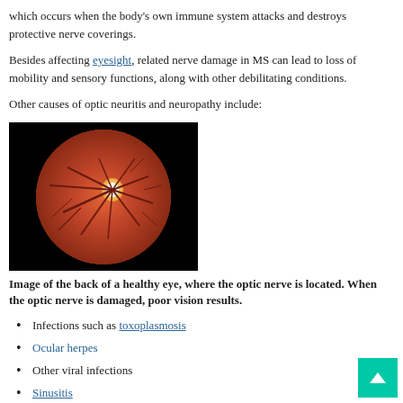which occurs when the body's own immune system attacks and destroys protective nerve coverings.
Besides affecting eyesight, related nerve damage in MS can lead to loss of mobility and sensory functions, along with other debilitating conditions.
Other causes of optic neuritis and neuropathy include:
[Figure (photo): Fundus photograph showing the back of a healthy eye with the optic nerve (optic disc) visible as a bright spot with radiating blood vessels on a reddish background.]
Image of the back of a healthy eye, where the optic nerve is located. When the optic nerve is damaged, poor vision results.
Infections such as toxoplasmosis
Ocular herpes
Other viral infections
Sinusitis
Neurological disorders
Leber hereditary optic neuropathy, an inherited form of vision loss that affects mostly males in their 20s or 30s
Nutritional deficiency
Toxins, including alcohol and tobacco